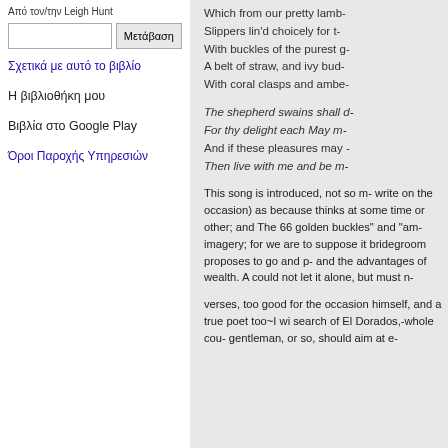Από τον/την Leigh Hunt
Μετάβαση (search button)
Σχετικά με αυτό το βιβλίο
Η βιβλιοθήκη μου
Βιβλία στο Google Play
Όροι Παροχής Υπηρεσιών
Which from our pretty lamb-
Slippers lin'd choicely for t-
With buckles of the purest g-
A belt of straw, and ivy bud-
With coral clasps and ambe-
The shepherd swains shall d-
For thy delight each May m-
And if these pleasures may -
Then live with me and be m-
This song is introduced, not so m- write on the occasion) as because thinks at some time or other; and The 66 golden buckles" and "am- imagery; for we are to suppose it bridegroom proposes to go and p- and the advantages of wealth. A could not let it alone, but must n-
verses, too good for the occasion himself, and a true poet too~I wi search of El Dorados,-whole cou- gentleman, or so, should aim at e-